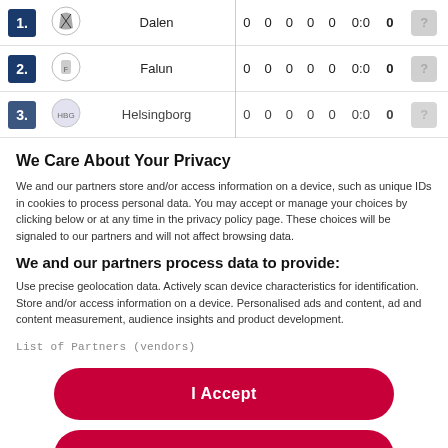| # | Logo | Team | 0 | 0 | 0 | 0 | 0 | 0:0 | 0 | ? |
| --- | --- | --- | --- | --- | --- | --- | --- | --- | --- | --- |
| 1. |  | Dalen | 0 | 0 | 0 | 0 | 0 | 0:0 | 0 | ? |
| 2. |  | Falun | 0 | 0 | 0 | 0 | 0 | 0:0 | 0 | ? |
| 3. |  | Helsingborg | 0 | 0 | 0 | 0 | 0 | 0:0 | 0 | ? |
We Care About Your Privacy
We and our partners store and/or access information on a device, such as unique IDs in cookies to process personal data. You may accept or manage your choices by clicking below or at any time in the privacy policy page. These choices will be signaled to our partners and will not affect browsing data.
We and our partners process data to provide:
Use precise geolocation data. Actively scan device characteristics for identification. Store and/or access information on a device. Personalised ads and content, ad and content measurement, audience insights and product development.
List of Partners (vendors)
I Accept
Reject All
Show Purposes